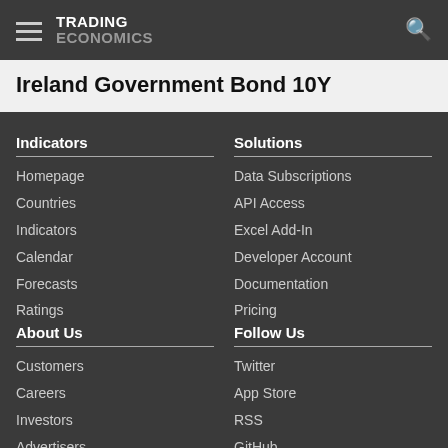TRADING ECONOMICS
Ireland Government Bond 10Y
Indicators
Homepage
Countries
Indicators
Calendar
Forecasts
Ratings
Solutions
Data Subscriptions
API Access
Excel Add-In
Developer Account
Documentation
Pricing
About Us
Customers
Careers
Investors
Advertisers
About us
Follow Us
Twitter
App Store
RSS
GitHub
Privacy
Copyright © 2023 TRADING ECONOMICS